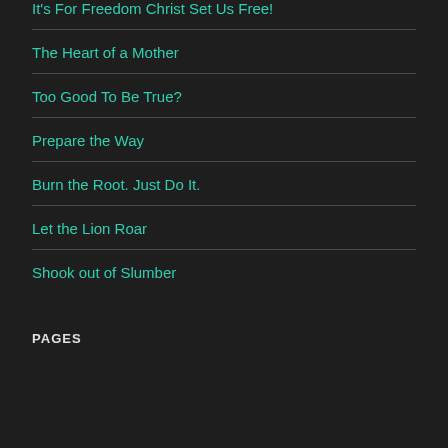It's For Freedom Christ Set Us Free!
The Heart of a Mother
Too Good To Be True?
Prepare the Way
Burn the Root. Just Do It.
Let the Lion Roar
Shook out of Slumber
PAGES